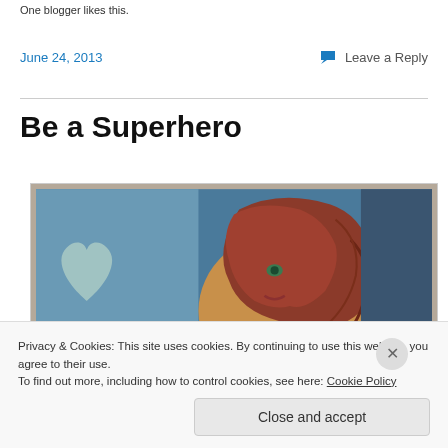One blogger likes this.
June 24, 2013
Leave a Reply
Be a Superhero
[Figure (illustration): Artistic illustration of a woman with flowing red-brown hair, stylized face with green eyes, wearing a golden/brown outfit with a heart motif in the background, on a blue background with mixed-media art style.]
Privacy & Cookies: This site uses cookies. By continuing to use this website, you agree to their use.
To find out more, including how to control cookies, see here: Cookie Policy
Close and accept